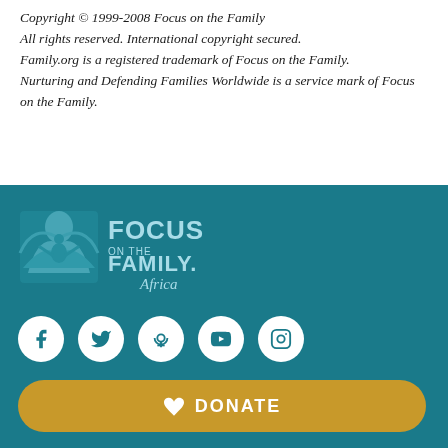Copyright © 1999-2008 Focus on the Family
All rights reserved. International copyright secured.
Family.org is a registered trademark of Focus on the Family.
Nurturing and Defending Families Worldwide is a service mark of Focus on the Family.
[Figure (logo): Focus on the Family Africa logo with bird/angel graphic on teal background]
[Figure (infographic): Social media icons: Facebook, Twitter, Podcast, YouTube, Instagram — white circles on teal background]
[Figure (infographic): DONATE button with heart icon, gold/yellow rounded rectangle]